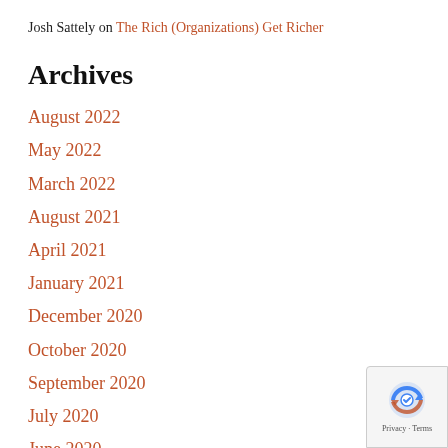Josh Sattely on The Rich (Organizations) Get Richer
Archives
August 2022
May 2022
March 2022
August 2021
April 2021
January 2021
December 2020
October 2020
September 2020
July 2020
June 2020
May 2020
[Figure (logo): reCAPTCHA privacy badge with logo and Privacy/Terms links]